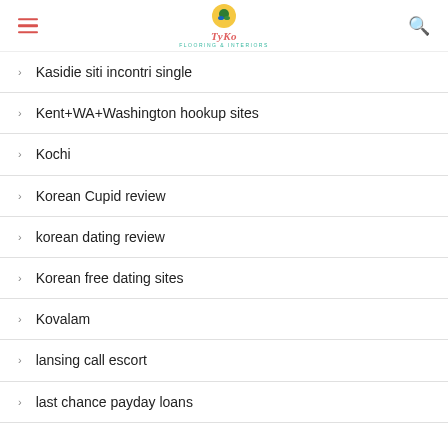TYko logo with hamburger and search icons
Kasidie siti incontri single
Kent+WA+Washington hookup sites
Kochi
Korean Cupid review
korean dating review
Korean free dating sites
Kovalam
lansing call escort
last chance payday loans